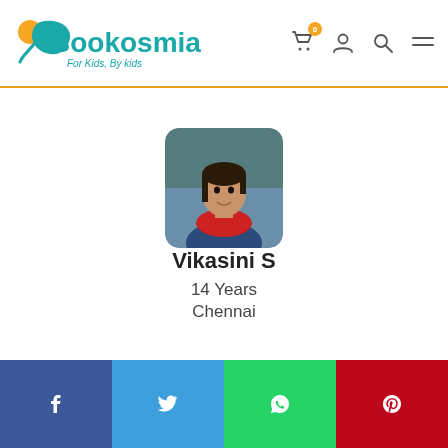[Figure (logo): Bookosmia logo with teal bird/leaf icon, orange dot, teal text 'Bookosmia', tagline 'For Kids, By kids']
[Figure (photo): Profile photo of Vikasini S, a young girl wearing a red scarf, rounded square thumbnail]
Vikasini S
14 Years
Chennai
[Figure (infographic): Social share bar with Facebook, Twitter, WhatsApp, Pinterest icons]